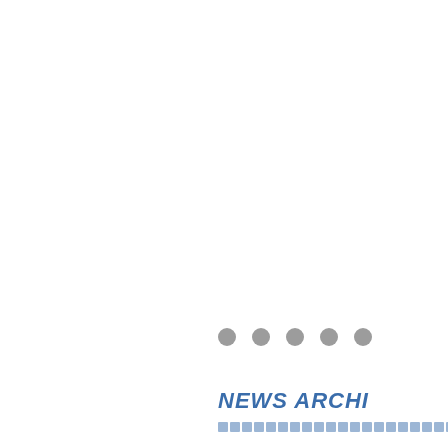[Figure (other): Five gray decorative dots arranged horizontally in the lower-right area of the page.]
NEWS ARCHI
Decorative underline/block element row beneath the title